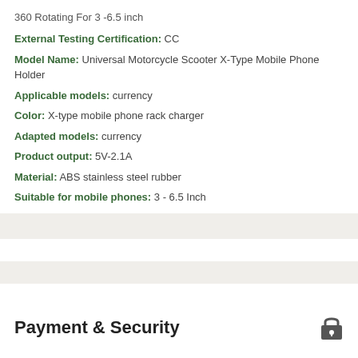360 Rotating For 3 -6.5 inch
External Testing Certification: CC
Model Name: Universal Motorcycle Scooter X-Type Mobile Phone Holder
Applicable models: currency
Color: X-type mobile phone rack charger
Adapted models: currency
Product output: 5V-2.1A
Material: ABS stainless steel rubber
Suitable for mobile phones: 3 - 6.5 Inch
Payment & Security